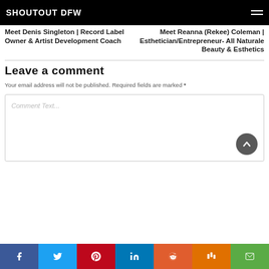SHOUTOUT DFW
Meet Denis Singleton | Record Label Owner & Artist Development Coach
Meet Reanna (Rekee) Coleman | Esthetician/Entrepreneur- All Naturale Beauty & Esthetics
Leave a comment
Your email address will not be published. Required fields are marked *
Comment Text...
Social share bar: Facebook, Twitter, Pinterest, LinkedIn, Reddit, Mix, Email